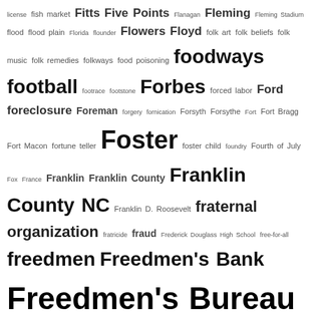license fish market Fitts Five Points Flanagan Fleming Fleming Stadium flood flood plain Florida flounder Flowers Floyd folk art folk beliefs folk music folk remedies folkways food poisoning foodways football footrace footstone Forbes forced labor Ford foreclosure Foreman forgery fornication Forsyth Forsythe Fort Fort Bragg Fort Macon fortune teller Foster foster child foundry Fourth of July Fox France Franklin Franklin County Franklin County NC Franklin D. Roosevelt fraternal organization fratricide fraud Frederick Douglass High School free-for-all freedmen Freedmen's Bank Freedmen's Bureau Freeman Freeman Round House Freeman Roundhouse Freeman Vines free pass free people of color Free Will Baptist church Freewill Baptist church freight car freight train hopping friendship Friends of East End Cemetery Friends of Geer Cemetery Friends of the Archives frostbite fugitive Fulcher Fulghum Fuller. fundraiser fundraising funeral funeral director funeral home funeral program funeral records